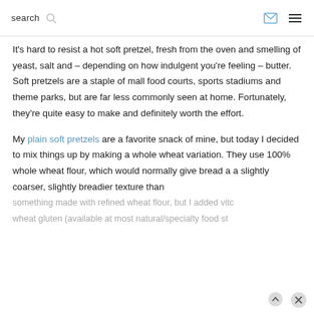search
It's hard to resist a hot soft pretzel, fresh from the oven and smelling of yeast, salt and – depending on how indulgent you're feeling – butter. Soft pretzels are a staple of mall food courts, sports stadiums and theme parks, but are far less commonly seen at home. Fortunately, they're quite easy to make and definitely worth the effort.
My plain soft pretzels are a favorite snack of mine, but today I decided to mix things up by making a whole wheat variation. They use 100% whole wheat flour, which would normally give bread a a slightly coarser, slightly breadier texture than something made with refined wheat flour, but I added vitc wheat gluten (available at most natural/specialty food st